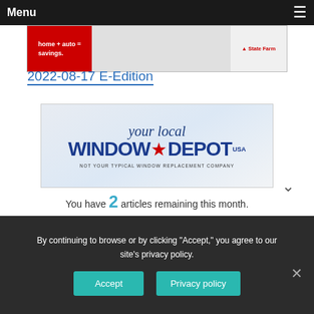Menu ≡
[Figure (screenshot): State Farm advertisement banner: red section with 'home + auto = savings.' text, gray middle section, State Farm logo on right]
2022-08-17 E-Edition
[Figure (logo): Window Depot USA advertisement: 'your local WINDOW★DEPOT USA' logo on light blue/gray background with tagline 'NOT YOUR TYPICAL WINDOW REPLACEMENT COMPANY']
You have 2 articles remaining this month.
Please log in or subscribe to continue reading.
For an explanation of this change, please see our note to readers.
By continuing to browse or by clicking "Accept," you agree to our site's privacy policy.
Accept
Privacy policy